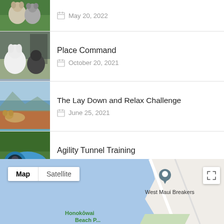[Figure (photo): Partial view of two dogs on green grass, cropped at top]
May 20, 2022
[Figure (photo): Two dogs outdoors near a fence, one white and one dark]
Place Command
October 20, 2021
[Figure (photo): Dogs on a beach/coastal area with ocean and mountains in background]
The Lay Down and Relax Challenge
June 25, 2021
[Figure (photo): Dog inside a blue agility tunnel on grass]
Agility Tunnel Training
May 29, 2021
[Figure (map): Google map showing West Maui Breakers and Honokowai Beach Park area with map/satellite toggle and location pin]